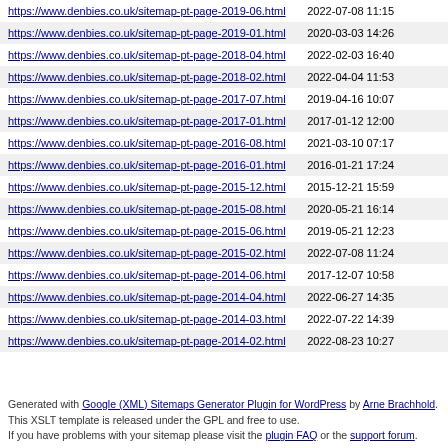| URL | Last Modified |
| --- | --- |
| https://www.denbies.co.uk/sitemap-pt-page-2019-06.html | 2022-07-08 11:15 |
| https://www.denbies.co.uk/sitemap-pt-page-2019-01.html | 2020-03-03 14:26 |
| https://www.denbies.co.uk/sitemap-pt-page-2018-04.html | 2022-02-03 16:40 |
| https://www.denbies.co.uk/sitemap-pt-page-2018-02.html | 2022-04-04 11:53 |
| https://www.denbies.co.uk/sitemap-pt-page-2017-07.html | 2019-04-16 10:07 |
| https://www.denbies.co.uk/sitemap-pt-page-2017-01.html | 2017-01-12 12:00 |
| https://www.denbies.co.uk/sitemap-pt-page-2016-08.html | 2021-03-10 07:17 |
| https://www.denbies.co.uk/sitemap-pt-page-2016-01.html | 2016-01-21 17:24 |
| https://www.denbies.co.uk/sitemap-pt-page-2015-12.html | 2015-12-21 15:59 |
| https://www.denbies.co.uk/sitemap-pt-page-2015-08.html | 2020-05-21 16:14 |
| https://www.denbies.co.uk/sitemap-pt-page-2015-06.html | 2019-05-21 12:23 |
| https://www.denbies.co.uk/sitemap-pt-page-2015-02.html | 2022-07-08 11:24 |
| https://www.denbies.co.uk/sitemap-pt-page-2014-06.html | 2017-12-07 10:58 |
| https://www.denbies.co.uk/sitemap-pt-page-2014-04.html | 2022-06-27 14:35 |
| https://www.denbies.co.uk/sitemap-pt-page-2014-03.html | 2022-07-22 14:39 |
| https://www.denbies.co.uk/sitemap-pt-page-2014-02.html | 2022-08-23 10:27 |
Generated with Google (XML) Sitemaps Generator Plugin for WordPress by Arne Brachhold. This XSLT template is released under the GPL and free to use. If you have problems with your sitemap please visit the plugin FAQ or the support forum.